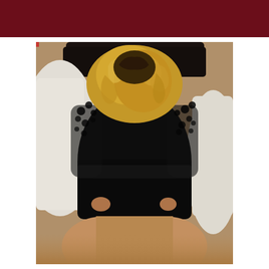CIRCLE-O
[Figure (photo): A woman with long curly blonde hair wearing a black mesh bodysuit seen from behind, kneeling on a white bed with a dark sofa headboard visible.]